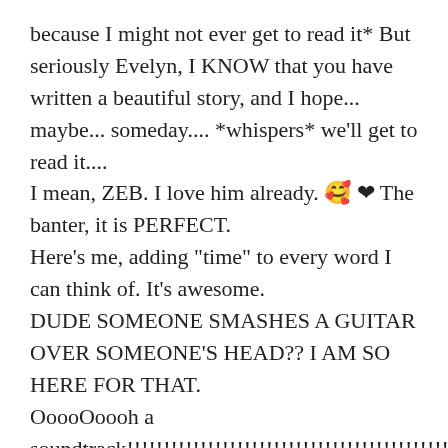because I might not ever get to read it* But seriously Evelyn, I KNOW that you have written a beautiful story, and I hope... maybe... someday.... *whispers* we'll get to read it.... I mean, ZEB. I love him already. 🥰 ❤ The banter, it is PERFECT. Here's me, adding "time" to every word I can think of. It's awesome. DUDE SOMEONE SMASHES A GUITAR OVER SOMEONE'S HEAD?? I AM SO HERE FOR THAT. OoooOoooh a soundtrack!!!!!!!!!!!!!!!!!!!!!!!!!!!!!!!!!!!!!!!!!!!!!!!!!!!!!!!!!!!!!!!!!!!!!!!!!!!!!!!!!!!!!!!!!!!!!!!!!!!!!!!!!!!!!!!!!!!!!!!!!!!!!!!!!!!!!!!!!!!!!!!!!!!!!!!!!!!!!!!!!!!!!!!!!!!!!!!!!!!!!!!!!!!!!! And girl, I get what you said. I am totally not ready for writing such deep and messy things either, and